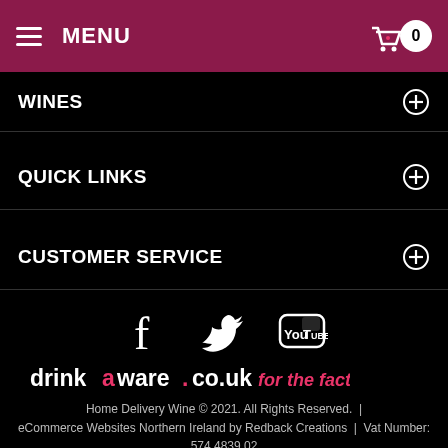MENU | Cart: 0
WINES
QUICK LINKS
CUSTOMER SERVICE
[Figure (infographic): Social media icons: Facebook, Twitter, YouTube]
[Figure (logo): drinkaware.co.uk for the facts logo]
Home Delivery Wine © 2021. All Rights Reserved.  |  eCommerce Websites Northern Ireland by Redback Creations  |  Vat Number: 574 4839 02